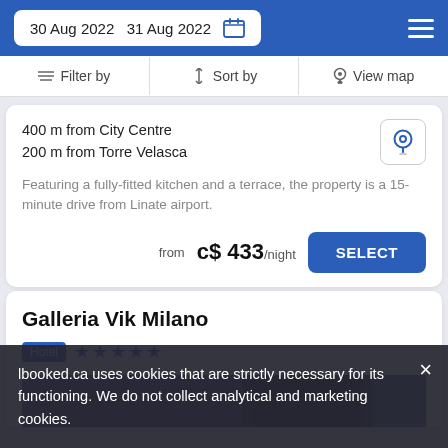30 Aug 2022  31 Aug 2022
Filter by  Sort by  View map
400 m from City Centre
200 m from Torre Velasca
Featuring a fully-fitted kitchen and a terrace, the property is a 15-minute drive from Linate airport.
from  c$ 433/night
Galleria Vik Milano
Hotel ★★★★★
lbooked.ca uses cookies that are strictly necessary for its functioning. We do not collect analytical and marketing cookies.